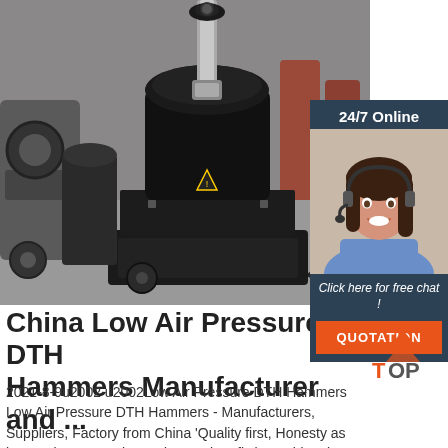[Figure (photo): Industrial heavy machinery (DTH hammer equipment) in a factory/warehouse setting. Large black mechanical equipment on a concrete floor with industrial background.]
[Figure (photo): Customer service representative - woman with headset smiling, in a '24/7 Online' chat widget sidebar with dark blue background and orange QUOTATION button.]
China Low Air Pressure DTH Hammers Manufacturer and ...
2021-8-9u2002·u2002Low Air Pressure DTH Hammers Low Air Pressure DTH Hammers - Manufacturers, Suppliers, Factory from China 'Quality first, Honesty as base, Sincere service and mutual profit' is our idea, in
[Figure (logo): TOP logo - orange/red triangular chevron icon with the word TOP in orange text]